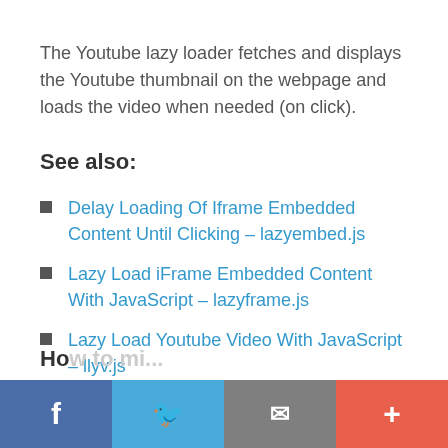The Youtube lazy loader fetches and displays the Youtube thumbnail on the webpage and loads the video when needed (on click).
See also:
Delay Loading Of Iframe Embedded Content Until Clicking – lazyembed.js
Lazy Load iFrame Embedded Content With JavaScript – lazyframe.js
Lazy Load Youtube Video With JavaScript – llyv.js